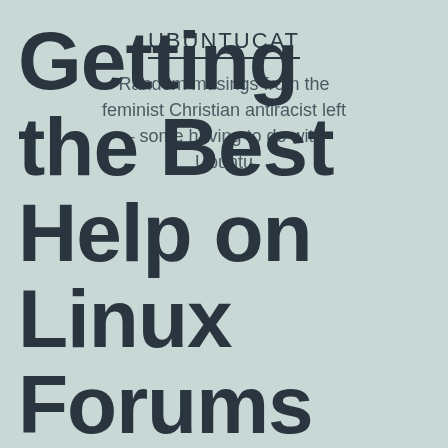UBUNTUCAT
Random musings from the feminist Christian antiracist left – some having to do with Ubuntu
Getting the Best Help on Linux Forums